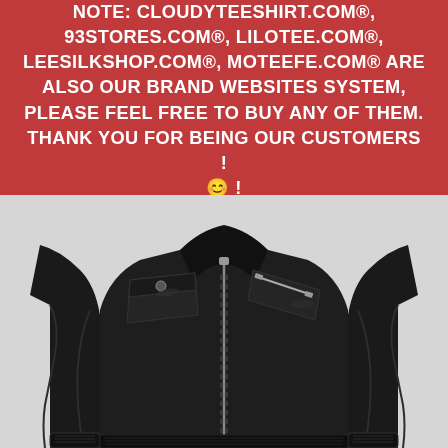NOTE: CLOUDYTEESHIRT.COM®, 93STORES.COM®, LILOTEE.COM®, LEESILKSHOP.COM®, MOTEEFE.COM® ARE ALSO OUR BRAND WEBSITES SYSTEM, PLEASE FEEL FREE TO BUY ANY OF THEM. THANK YOU FOR BEING OUR CUSTOMERS ! 😊 !
[Figure (photo): A black leather biker jacket with front zipper, chest pocket with button flap, diagonal zip pocket on left breast, and ribbed cuffs and hem, displayed on a white/light background.]